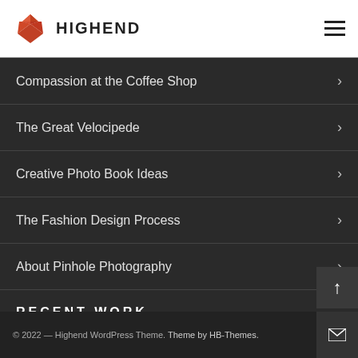HIGHEND
Compassion at the Coffee Shop
The Great Velocipede
Creative Photo Book Ideas
The Fashion Design Process
About Pinhole Photography
RECENT WORK
© 2022 — Highend WordPress Theme. Theme by HB-Themes.